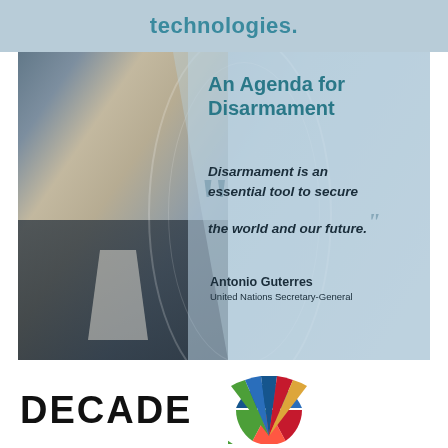technologies.
[Figure (photo): Photo of Antonio Guterres with text overlay: An Agenda for Disarmament. Quote: Disarmament is an essential tool to secure the world and our future. — Antonio Guterres, United Nations Secretary-General]
DECADE